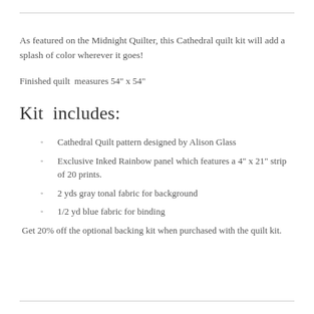As featured on the Midnight Quilter, this Cathedral quilt kit will add a splash of color wherever it goes!
Finished quilt measures 54" x 54"
Kit includes:
Cathedral Quilt pattern designed by Alison Glass
Exclusive Inked Rainbow panel which features a 4" x 21" strip of 20 prints.
2 yds gray tonal fabric for background
1/2 yd blue fabric for binding
Get 20% off the optional backing kit when purchased with the quilt kit.